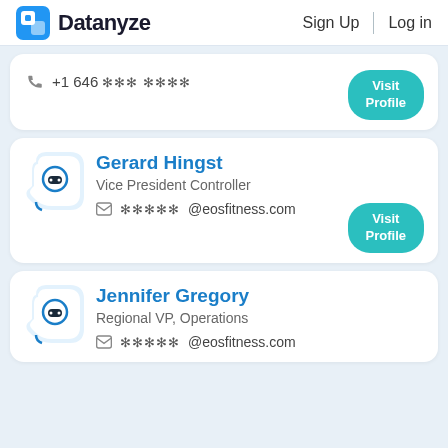Datanyze | Sign Up | Log in
+1 646 *** ****
Visit Profile
Gerard Hingst
Vice President Controller
*****@eosfitness.com
Visit Profile
Jennifer Gregory
Regional VP, Operations
*****@eosfitness.com